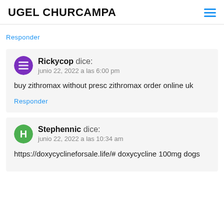UGEL CHURCAMPA
Responder
Rickycop dice:
junio 22, 2022 a las 6:00 pm
buy zithromax without presc zithromax order online uk
Responder
Stephennic dice:
junio 22, 2022 a las 10:34 am
https://doxycyclineforsale.life/# doxycycline 100mg dogs